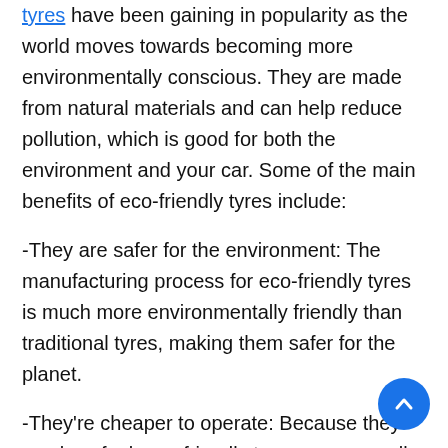tyres have been gaining in popularity as the world moves towards becoming more environmentally conscious. They are made from natural materials and can help reduce pollution, which is good for both the environment and your car. Some of the main benefits of eco-friendly tyres include:
-They are safer for the environment: The manufacturing process for eco-friendly tyres is much more environmentally friendly than traditional tyres, making them safer for the planet.
-They're cheaper to operate: Because they use less fuel, eco-friendly tyres are generally cheaper to operate than traditional ones.